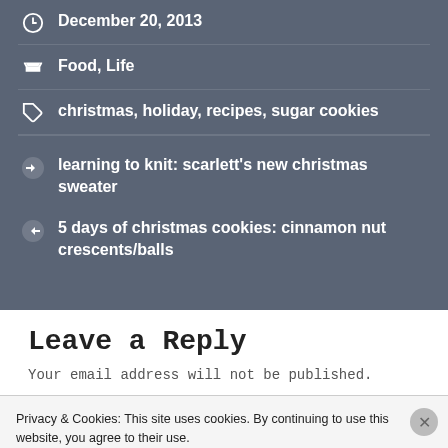December 20, 2013
Food, Life
christmas, holiday, recipes, sugar cookies
learning to knit: scarlett's new christmas sweater
5 days of christmas cookies: cinnamon nut crescents/balls
Leave a Reply
Your email address will not be published.
Privacy & Cookies: This site uses cookies. By continuing to use this website, you agree to their use.
To find out more, including how to control cookies, see here: Cookie Policy
Close and accept